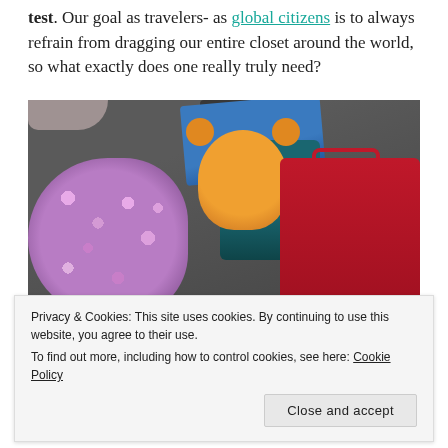test. Our goal as travelers- as global citizens is to always refrain from dragging our entire closet around the world, so what exactly does one really truly need?
[Figure (photo): Overhead photo of multiple bags and luggage on a floor including a purple floral bag, a blue open bag with an orange stuffed animal, a teal bag, and a red suitcase]
Privacy & Cookies: This site uses cookies. By continuing to use this website, you agree to their use.
To find out more, including how to control cookies, see here: Cookie Policy
continents. One of my greatest challenges was